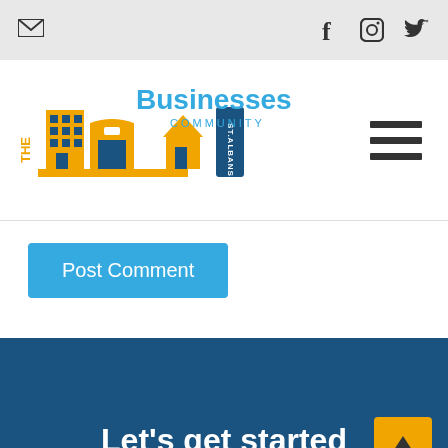Social bar with email, Facebook, Instagram, Twitter icons
[Figure (logo): The Businesses Community St. Albans logo with building icons and blue/yellow branding]
Post Comment
Let's get started
Find out how we can connect your business with